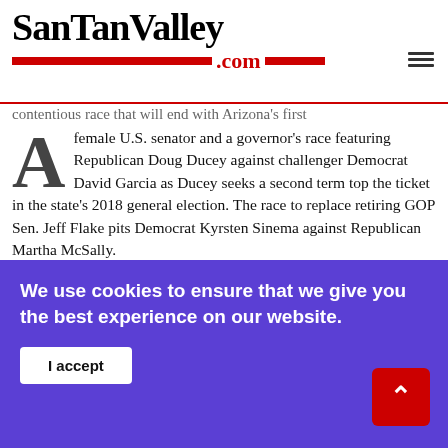SanTanValley.com
contentious race that will end with Arizona's first female U.S. senator and a governor's race featuring Republican Doug Ducey against challenger Democrat David Garcia as Ducey seeks a second term top the ticket in the state's 2018 general election. The race to replace retiring GOP Sen. Jeff Flake pits Democrat Kyrsten Sinema against Republican Martha McSally.
Continue reading
We use cookies to ensure that we give you the best experience on our website.
I accept